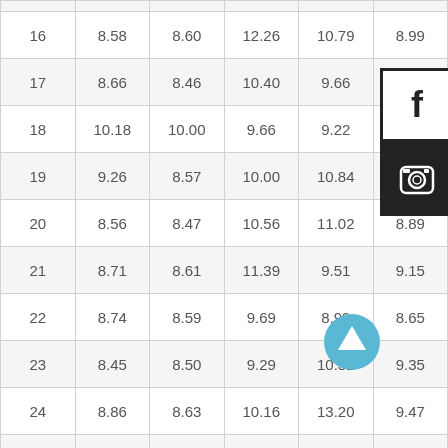| 16 | 8.58 | 8.60 | 12.26 | 10.79 | 8.99 |
| 17 | 8.66 | 8.46 | 10.40 | 9.66 | 8.66 |
| 18 | 10.18 | 10.00 | 9.66 | 9.22 | 8.86 |
| 19 | 9.26 | 8.57 | 10.00 | 10.84 | 10.42 |
| 20 | 8.56 | 8.47 | 10.56 | 11.02 | 8.89 |
| 21 | 8.71 | 8.61 | 11.39 | 9.51 | 9.15 |
| 22 | 8.74 | 8.59 | 9.69 | 8.99 | 8.65 |
| 23 | 8.45 | 8.50 | 9.29 | 10.32 | 9.35 |
| 24 | 8.86 | 8.63 | 10.16 | 13.20 | 9.47 |
| 25 | 8.54 | 8.63 | 9.95 | 9.76 | 8.80 |